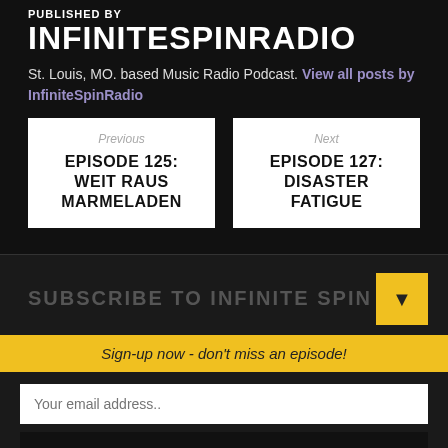PUBLISHED BY
INFINITESPINRADIO
St. Louis, MO. based Music Radio Podcast. View all posts by InfiniteSpinRadio
Previous
EPISODE 125: WEIT RAUS MARMELADEN
Next
EPISODE 127: DISASTER FATIGUE
SUBSCRIBE TO INFINITE SPIN
Sign-up now - don't miss an episode!
Your email address..
SUBSCRIBE